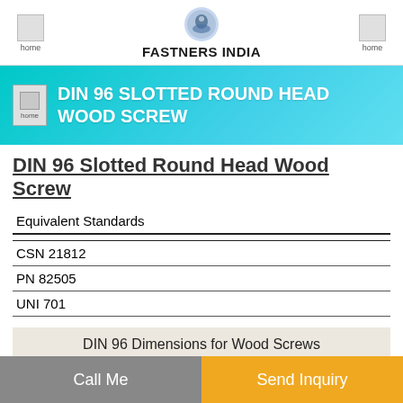FASTNERS INDIA
DIN 96 SLOTTED ROUND HEAD WOOD SCREW
DIN 96 Slotted Round Head Wood Screw
| Equivalent Standards |
| --- |
| CSN 21812 |
| PN 82505 |
| UNI 701 |
DIN 96 Dimensions for Wood Screws
Call Me | Send Inquiry